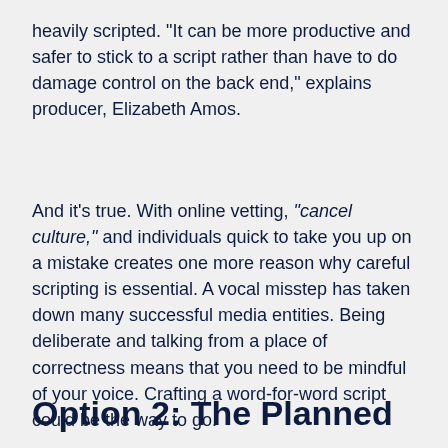heavily scripted. "It can be more productive and safer to stick to a script rather than have to do damage control on the back end," explains producer, Elizabeth Amos.
And it's true. With online vetting, "cancel culture," and individuals quick to take you up on a mistake creates one more reason why careful scripting is essential. A vocal misstep has taken down many successful media entities. Being deliberate and talking from a place of correctness means that you need to be mindful of your voice. Crafting a word-for-word script could be the way to go.
Option 2: The Planned